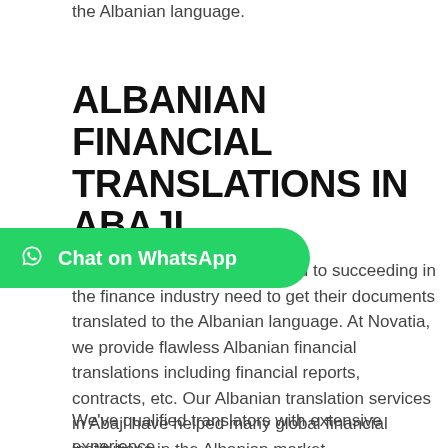the Albanian language.
ALBANIAN FINANCIAL TRANSLATIONS IN ABAJI
[Figure (other): WhatsApp chat button with green rounded rectangle and WhatsApp logo icon]
banking groups looking forward to succeeding in the finance industry need to get their documents translated to the Albanian language. At Novatia, we provide flawless Albanian financial translations including financial reports, contracts, etc. Our Albanian translation services in Abaji have helped many global financial institutions in the Albanian market.
We've qualified translators with extensive experience